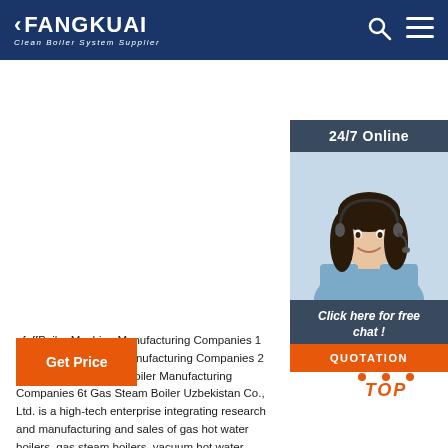FANGKUAI - Clean Boiler System Supplier
[Figure (photo): Customer service representative with headset smiling, 24/7 Online chat widget on the right side with 'Click here for free chat!' and 'QUOTATION' button]
ufeffBoiler Machine Manufacturing Companies 1 Ton Uzbekistan ufeffManufacturing Companies 2 Ton Gas Condensing Boiler Manufacturing Companies 6t Gas Steam Boiler Uzbekistan Co., Ltd. is a high-tech enterprise integrating research and manufacturing and sales of gas hot water boilers, gas steam boilers, vacuum hot water boilers and clean combustion technology boilers.
Get Price
[Figure (other): TOP button with orange dot pattern arrow and italic orange TOP text]